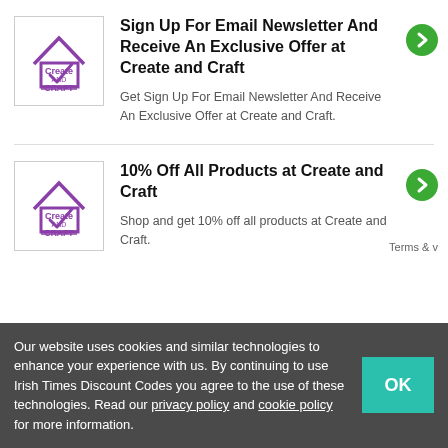[Figure (logo): Create and Craft logo — purple house outline with checkmark, text 'Create AND CRAFT' in purple]
Sign Up For Email Newsletter And Receive An Exclusive Offer at Create and Craft
Get Sign Up For Email Newsletter And Receive An Exclusive Offer at Create and Craft.
[Figure (logo): Create and Craft logo — purple house outline with checkmark, text 'Create AND CRAFT' in purple]
10% Off All Products at Create and Craft
Shop and get 10% off all products at Create and Craft.
Our website uses cookies and similar technologies to enhance your experience with us. By continuing to use Irish Times Discount Codes you agree to the use of these technologies. Read our privacy policy and cookie policy for more information.